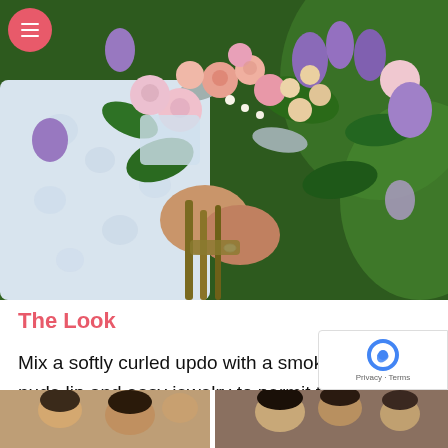[Figure (photo): A bride in a white lace dress holding a large floral bouquet with pink roses, lavender flowers, and green foliage, outdoors with green background.]
The Look
Mix a softly curled updo with a smokey eye, nude lip and easy jewelry to permit the element in your marriage ceremony costume to shine.
[Figure (photo): Bottom strip showing partial photos of people at a wedding or event.]